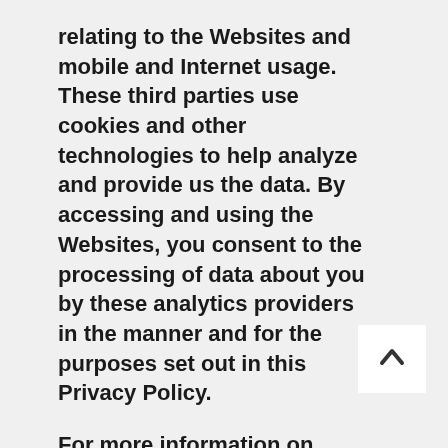relating to the Websites and mobile and Internet usage. These third parties use cookies and other technologies to help analyze and provide us the data. By accessing and using the Websites, you consent to the processing of data about you by these analytics providers in the manner and for the purposes set out in this Privacy Policy.
For more information on Google Analytics, including how to opt out from certain data collection, please visit https://www.google.com/analytics. Please be advised that if you opt out